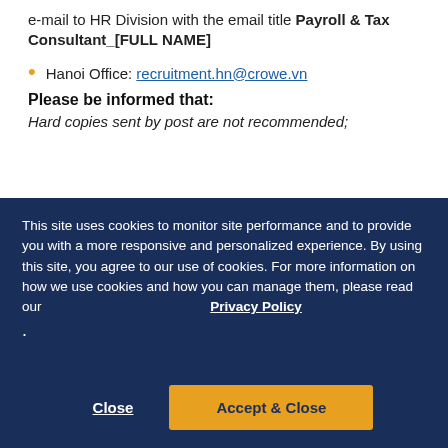e-mail to HR Division with the email title Payroll & Tax Consultant_[FULL NAME]
Hanoi Office: recruitment.hn@crowe.vn
Please be informed that:
Hard copies sent by post are not recommended;
This site uses cookies to monitor site performance and to provide you with a more responsive and personalized experience. By using this site, you agree to our use of cookies. For more information on how we use cookies and how you can manage them, please read our Privacy Policy .
Close
Accept & Close